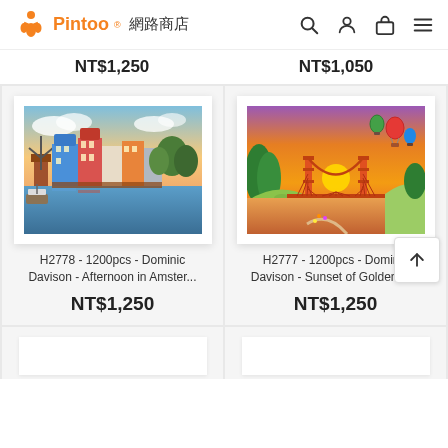Pintoo 網路商店
NT$1,250  NT$1,050
[Figure (photo): Puzzle product image: Amsterdam canal scene with colorful buildings and windmill at sunset (H2778)]
H2778 - 1200pcs - Dominic Davison - Afternoon in Amster...
NT$1,250
[Figure (photo): Puzzle product image: Golden Gate Bridge at sunset with hot air balloons (H2777)]
H2777 - 1200pcs - Dominic Davison - Sunset of Golden G...
NT$1,250